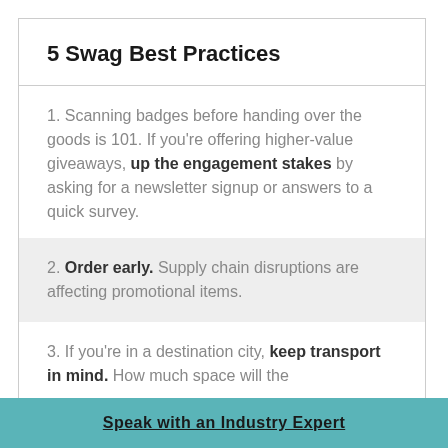5 Swag Best Practices
1. Scanning badges before handing over the goods is 101. If you're offering higher-value giveaways, up the engagement stakes by asking for a newsletter signup or answers to a quick survey.
2. Order early. Supply chain disruptions are affecting promotional items.
3. If you're in a destination city, keep transport in mind. How much space will the
Speak with an Industry Expert